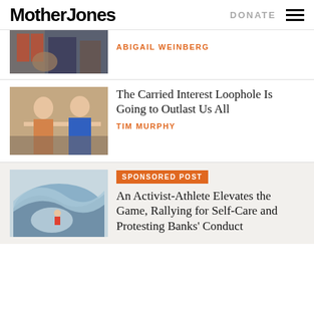Mother Jones | DONATE
[Figure (photo): Partial photo of figures in a formal room with American flags, partially cropped]
ABIGAIL WEINBERG
[Figure (photo): Photo of a woman in a floral top and a man in a blue suit, standing and talking]
The Carried Interest Loophole Is Going to Outlast Us All
TIM MURPHY
[Figure (photo): Photo of a surfer on a large wave]
SPONSORED POST
An Activist-Athlete Elevates the Game, Rallying for Self-Care and Protesting Banks' Conduct